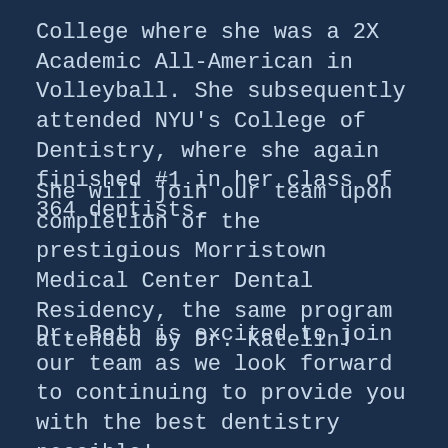College where she was a 2X Academic All-American in Volleyball. She subsequently attended NYU's College of Dentistry, where she again finished #1 in her class of 364 dentists.
She will join our team upon completion of the prestigious Morristown Medical Center Dental Residency, the same program attended by Dr. Katelin!
Dr. Beth is excited to join our team as we look forward to continuing to provide you with the best dentistry possible!